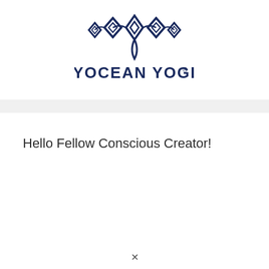[Figure (logo): Yocean Yogi brand logo: decorative mandala/lotus SVG emblem in dark navy blue above the text 'YOCEAN YOGI®' in large navy uppercase sans-serif letters]
Hello Fellow Conscious Creator!